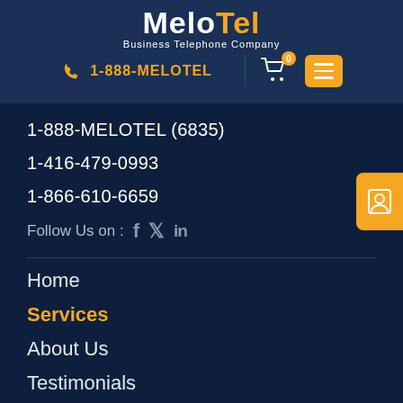[Figure (logo): MeloTel Business Telephone Company logo — 'Melo' in white bold, 'Tel' in orange bold, subtitle 'Business Telephone Company' in white below]
1-888-MELOTEL
1-888-MELOTEL (6835)
1-416-479-0993
1-866-610-6659
Follow Us on : f  𝕏  in
Home
Services
About Us
Testimonials